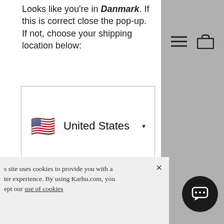Looks like you're in Danmark. If this is correct close the pop-up. If not, choose your shipping location below:
[Figure (screenshot): Dropdown selector showing United States with a US flag emoji and a downward arrow]
[Figure (screenshot): Black button with white text reading 'Go →']
Can't find your location? We might have a store in your area.
s site uses cookies to provide you with a ter experience. By using Karhu.com, you ept our use of cookies